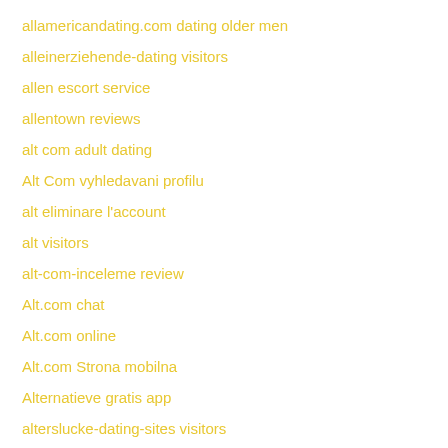allamericandating.com dating older men
alleinerziehende-dating visitors
allen escort service
allentown reviews
alt com adult dating
Alt Com vyhledavani profilu
alt eliminare l'account
alt visitors
alt-com-inceleme review
Alt.com chat
Alt.com online
Alt.com Strona mobilna
Alternatieve gratis app
alterslucke-dating-sites visitors
alua customer service